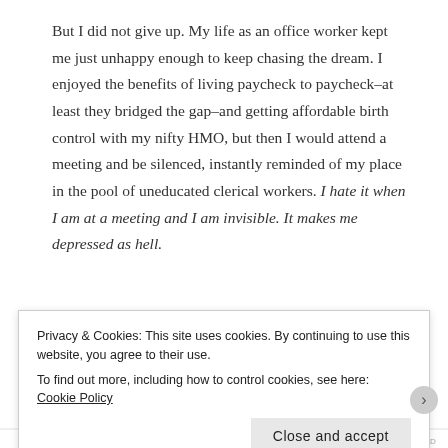But I did not give up. My life as an office worker kept me just unhappy enough to keep chasing the dream. I enjoyed the benefits of living paycheck to paycheck–at least they bridged the gap–and getting affordable birth control with my nifty HMO, but then I would attend a meeting and be silenced, instantly reminded of my place in the pool of uneducated clerical workers. I hate it when I am at a meeting and I am invisible. It makes me depressed as hell.
I graduated from college mainly to prove a point
Privacy & Cookies: This site uses cookies. By continuing to use this website, you agree to their use.
To find out more, including how to control cookies, see here: Cookie Policy
Close and accept